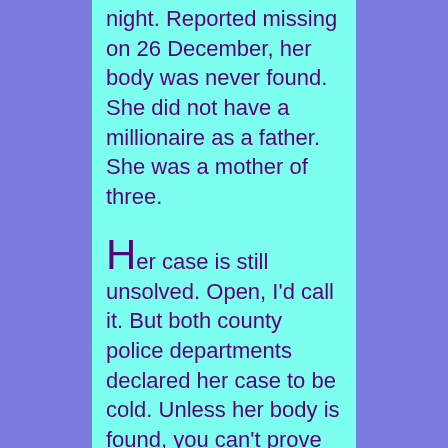night. Reported missing on 26 December, her body was never found. She did not have a millionaire as a father. She was a mother of three.
Her case is still unsolved. Open, I'd call it. But both county police departments declared her case to be cold. Unless her body is found, you can't prove she died or how she died.
But we all know she